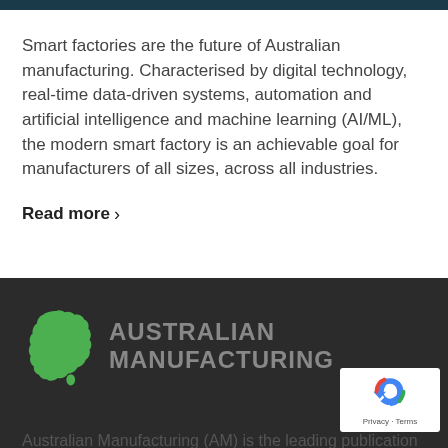Smart factories are the future of Australian manufacturing. Characterised by digital technology, real-time data-driven systems, automation and artificial intelligence and machine learning (AI/ML), the modern smart factory is an achievable goal for manufacturers of all sizes, across all industries.
Read more >
[Figure (logo): Australian Manufacturing logo with green Australia map silhouette and bold grey text 'AUSTRALIAN MANUFACTURING']
[Figure (other): reCAPTCHA badge with recycling-arrow logo and 'Privacy - Terms' text]
Australian Manufacturing (AM) is the leading publication